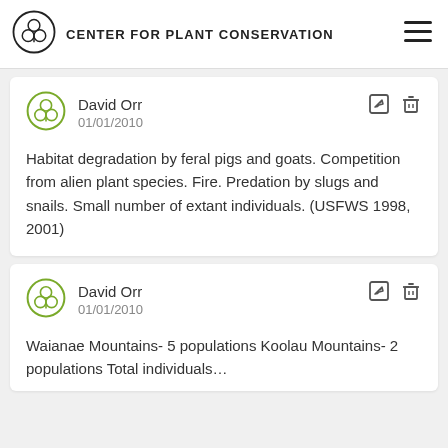CENTER FOR PLANT CONSERVATION
David Orr
01/01/2010
Habitat degradation by feral pigs and goats. Competition from alien plant species. Fire. Predation by slugs and snails. Small number of extant individuals. (USFWS 1998, 2001)
David Orr
01/01/2010
Waianae Mountains- 5 populations Koolau Mountains- 2 populations Total individuals…